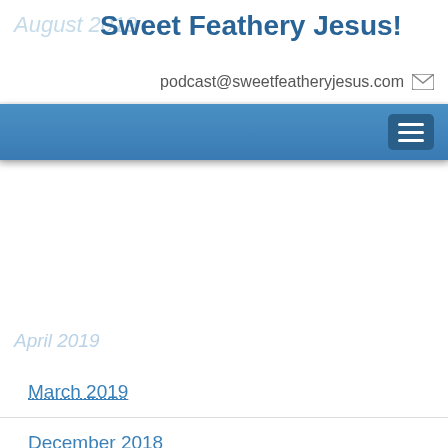Sweet Feathery Jesus!
podcast@sweetfeatheryjesus.com
Navigation bar with hamburger menu
April 2019
March 2019
December 2018
November 2018
October 2018
September 2018
August 2018
July 2018